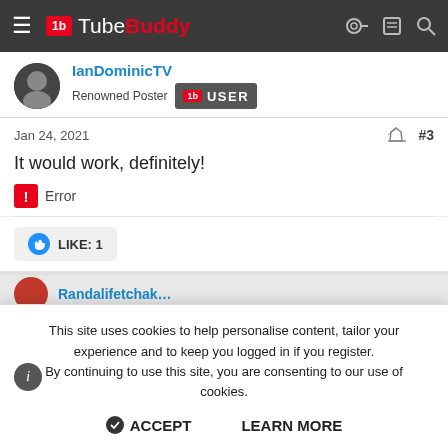TubeBuddy
IanDominicTV
Renowned Poster USER
Jan 24, 2021  #3
It would work, definitely!
Error
LIKE: 1
This site uses cookies to help personalise content, tailor your experience and to keep you logged in if you register.
By continuing to use this site, you are consenting to our use of cookies.
ACCEPT   LEARN MORE